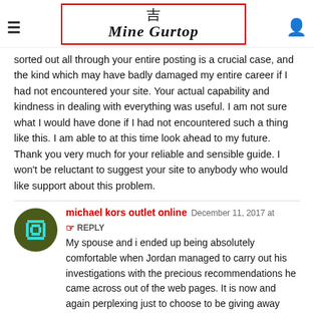Mine Gurtop
sorted out all through your entire posting is a crucial case, and the kind which may have badly damaged my entire career if I had not encountered your site. Your actual capability and kindness in dealing with everything was useful. I am not sure what I would have done if I had not encountered such a thing like this. I am able to at this time look ahead to my future. Thank you very much for your reliable and sensible guide. I won’t be reluctant to suggest your site to anybody who would like support about this problem.
michael kors outlet online  December 11, 2017 at  REPLY
My spouse and i ended up being absolutely comfortable when Jordan managed to carry out his investigations with the precious recommendations he came across out of the web pages. It is now and again perplexing just to choose to be giving away things that people today might have been selling. We remember we’ve got you to